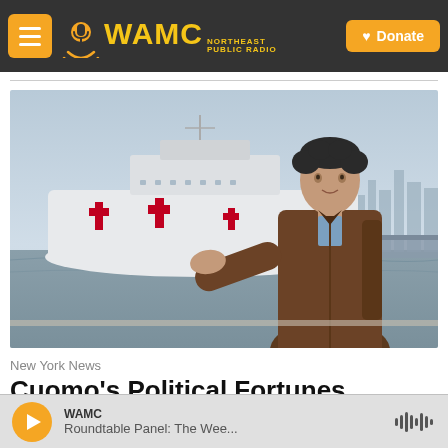WAMC Northeast Public Radio — Donate
[Figure (photo): Man in brown leather jacket speaking outdoors with a large white hospital ship bearing red crosses visible on the water behind him, city skyline in background]
New York News
Cuomo's Political Fortunes Rise And Fall In Year One Of
WAMC — Roundtable Panel: The Wee...